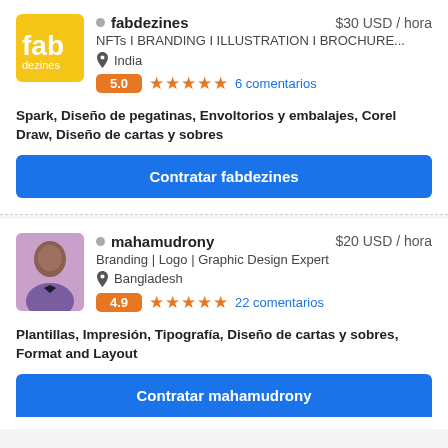[Figure (logo): fab dezines yellow logo with white text]
fabdezines    $30 USD / hora
NFTs I BRANDING I ILLUSTRATION I BROCHURE...
India
5.0  ★★★★★  6 comentarios
Spark, Diseño de pegatinas, Envoltorios y embalajes, Corel Draw, Diseño de cartas y sobres
Contratar fabdezines
[Figure (photo): Profile photo of mahamudrony, person in purple shirt]
mahamudrony    $20 USD / hora
Branding | Logo | Graphic Design Expert
Bangladesh
4.9  ★★★★★  22 comentarios
Plantillas, Impresión, Tipografía, Diseño de cartas y sobres, Format and Layout
Contratar mahamudrony